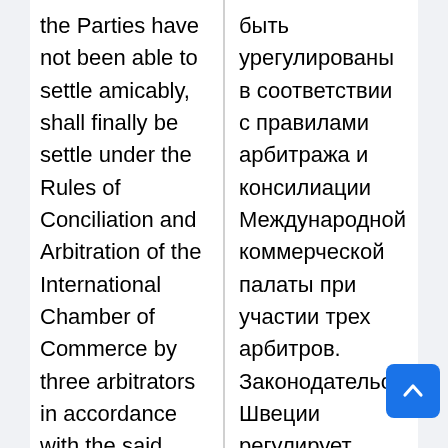the Parties have not been able to settle amicably, shall finally be settle under the Rules of Conciliation and Arbitration of the International Chamber of Commerce by three arbitrators in accordance with the said Rules. The laws of Sweden shall govern the matter regulated by the Contract. The
быть урегулированы в соответствии с правилами арбитража и консилиации Международной коммерческой палаты при участии трех арбитров. Законодательство Швеции регулирует вопросы, относящиеся к данному Контракту. Заседания арбитража должны производиться в Стокгольме на английском языке. Любая из сторон, имеющая